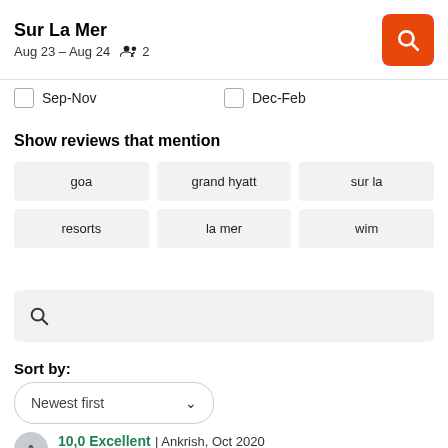Sur La Mer
Aug 23 – Aug 24   2
Sep-Nov
Dec-Feb
Show reviews that mention
goa
grand hyatt
sur la
resorts
la mer
wim
Sort by:
Newest first
10,0 Excellent | Ankrish, Oct 2020
Pros: Breakfast service on point. Location top and central